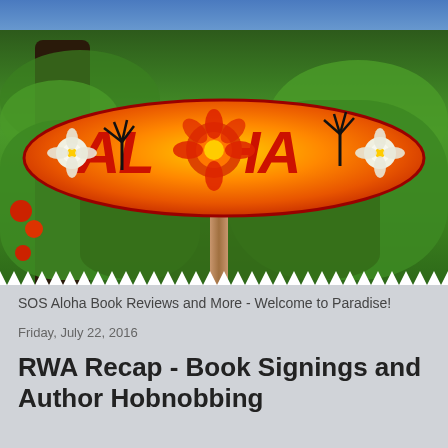[Figure (photo): An orange and yellow surfboard-shaped sign with 'ALOHA' text in red letters, decorated with hibiscus flowers and palm trees, mounted on a wooden post surrounded by tropical green foliage. Top has a blue sky area.]
SOS Aloha Book Reviews and More - Welcome to Paradise!
Friday, July 22, 2016
RWA Recap - Book Signings and Author Hobnobbing